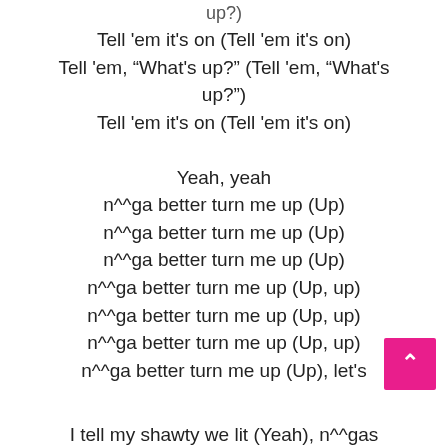up?)
Tell 'em it's on (Tell 'em it's on)
Tell 'em, "What's up?" (Tell 'em, "What's up?")
Tell 'em it's on (Tell 'em it's on)

Yeah, yeah
n^^ga better turn me up (Up)
n^^ga better turn me up (Up)
n^^ga better turn me up (Up)
n^^ga better turn me up (Up, up)
n^^ga better turn me up (Up, up)
n^^ga better turn me up (Up, up)
n^^ga better turn me up (Up), let's
I tell my shawty we lit (Yeah), n^^gas